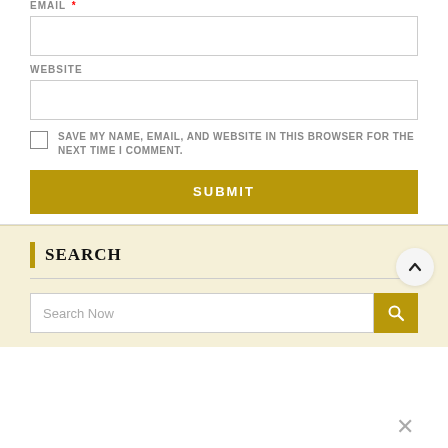EMAIL *
WEBSITE
SAVE MY NAME, EMAIL, AND WEBSITE IN THIS BROWSER FOR THE NEXT TIME I COMMENT.
SUBMIT
SEARCH
Search Now